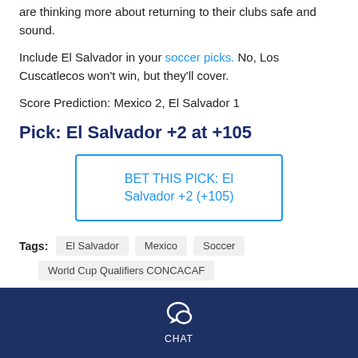are thinking more about returning to their clubs safe and sound.
Include El Salvador in your soccer picks. No, Los Cuscatlecos won't win, but they'll cover.
Score Prediction: Mexico 2, El Salvador 1
Pick: El Salvador +2 at +105
[Figure (other): Button/link styled box reading: BET THIS PICK: El Salvador +2 (+105)]
Tags: El Salvador  Mexico  Soccer  World Cup Qualifiers CONCACAF
CHAT